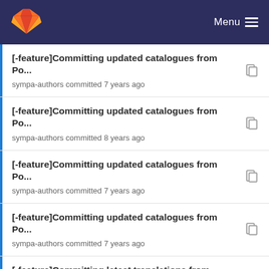GitLab Menu
[-feature]Committing updated catalogues from Po...
sympa-authors committed 7 years ago
[-feature]Committing updated catalogues from Po...
sympa-authors committed 8 years ago
[-feature]Committing updated catalogues from Po...
sympa-authors committed 7 years ago
[-feature]Committing updated catalogues from Po...
sympa-authors committed 7 years ago
[-feature]Committing latest translations from Pootle
sympa-authors committed 8 years ago
[-feature]Committing updated catalogues from Po...
sympa-authors committed 7 years ago
[-feature]Committing updated catalogues from Po...
sympa-authors committed 7 years ago
[-feature]Committing latest translations from Pootle
sympa-authors committed